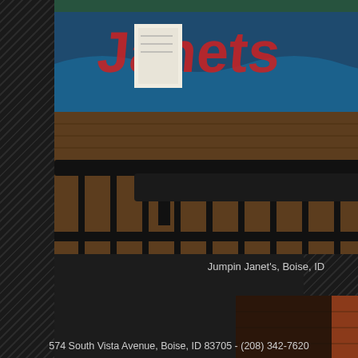[Figure (photo): Interior photo of Jumpin Janet's restaurant in Boise, ID — colorful graffiti-style mural on back wall, wooden bar/bench seating, dark iron railing in foreground]
Jumpin Janet's, Boise, ID
[Figure (photo): Interior photo showing brick wall, Christmas tree decorations, blue Boise Bronco horse logo cutout, dark bar area with photos on counter]
574 South Vista Avenue, Boise, ID 83705 - (208) 342-7620